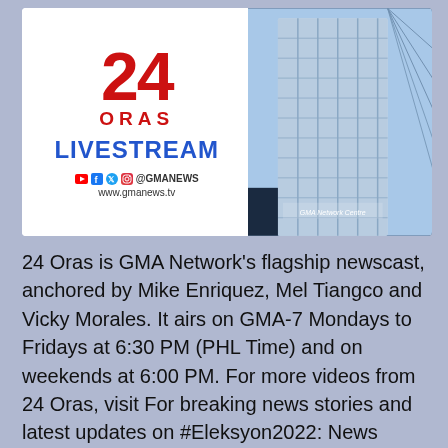[Figure (logo): 24 Oras Livestream banner showing the show logo with '24 ORAS' in red, 'LIVESTREAM' in blue, social media icons for YouTube, Facebook, Twitter, Instagram with @GMANEWS handle, website www.gmanews.tv, and a photo of the GMA Network building on the right.]
24 Oras is GMA Network's flagship newscast, anchored by Mike Enriquez, Mel Tiangco and Vicky Morales. It airs on GMA-7 Mondays to Fridays at 6:30 PM (PHL Time) and on weekends at 6:00 PM. For more videos from 24 Oras, visit For breaking news stories and latest updates on #Eleksyon2022: News